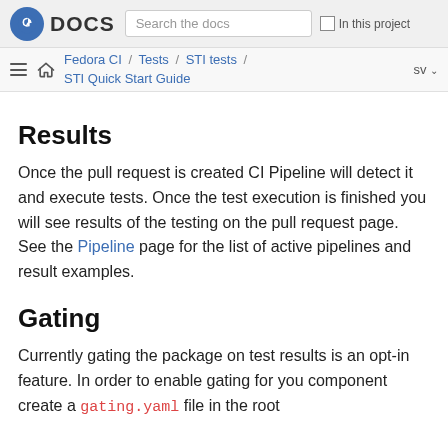DOCS | Search the docs | In this project
Fedora CI / Tests / STI tests / STI Quick Start Guide | sv
Results
Once the pull request is created CI Pipeline will detect it and execute tests. Once the test execution is finished you will see results of the testing on the pull request page. See the Pipeline page for the list of active pipelines and result examples.
Gating
Currently gating the package on test results is an opt-in feature. In order to enable gating for you component create a gating.yaml file in the root